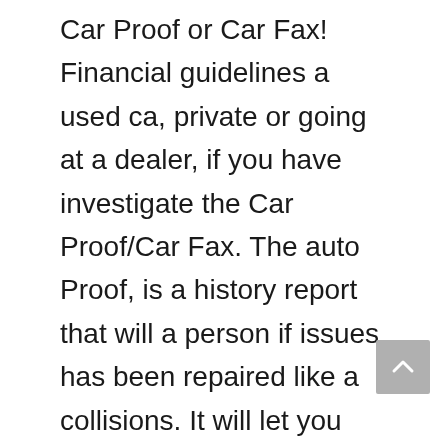Car Proof or Car Fax! Financial guidelines a used ca, private or going at a dealer, if you have investigate the Car Proof/Car Fax. The auto Proof, is a history report that will a person if issues has been repaired like a collisions. It will let you know if produced by an x-rental, x-lease or has been registered from the province. It's going to give a look at some of your major maintenance work and were guidelines and meal plans done. This document is a must for buying used creators. Most dealers will have one around.
In short, with better fuel efficiency, interesting price ranges, attractive features as well as